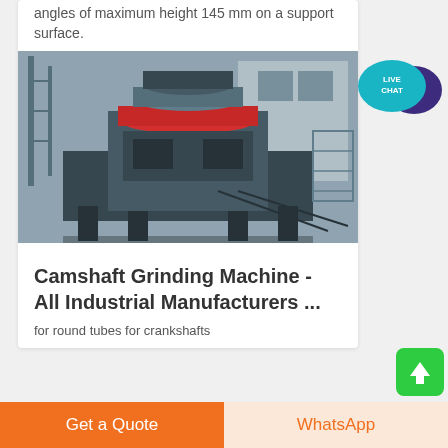angles of maximum height 145 mm on a support surface.
[Figure (photo): Industrial camshaft grinding machine photographed in a warehouse/factory setting. Large heavy machinery with dark grey metal frame, red circular upper section, and industrial components.]
Camshaft Grinding Machine - All Industrial Manufacturers ...
for round tubes for crankshafts
[Figure (infographic): Live Chat speech bubble icon — teal/blue circular chat bubble with the text LIVE CHAT in white, with a dark purple overlapping speech bubble behind it.]
[Figure (other): Green rounded square scroll-to-top button with a white upward arrow icon.]
Get a Quote
WhatsApp